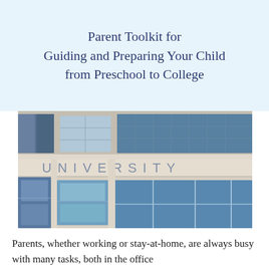Parent Toolkit for Guiding and Preparing Your Child from Preschool to College
[Figure (photo): Exterior photograph of a university building showing large blue-tinted windows and the word UNIVERSITY engraved in large capital letters on a light beige concrete facade.]
Parents, whether working or stay-at-home, are always busy with many tasks, both in the office